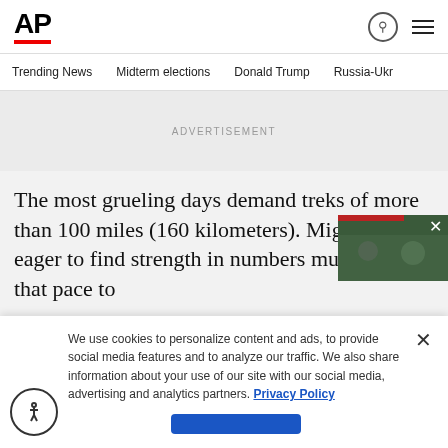AP
Trending News  Midterm elections  Donald Trump  Russia-Ukr
ADVERTISEMENT
The most grueling days demand treks of more than 100 miles (160 kilometers). Migrants eager to find strength in numbers must keep that pace to
We use cookies to personalize content and ads, to provide social media features and to analyze our traffic. We also share information about your use of our site with our social media, advertising and analytics partners. Privacy Policy